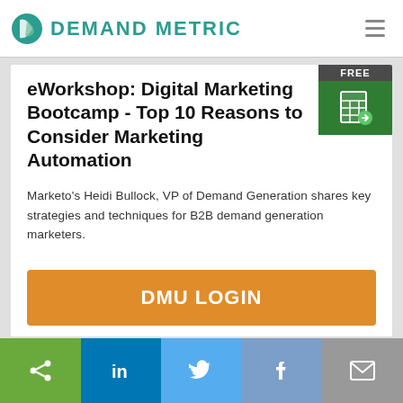Demand Metric
eWorkshop: Digital Marketing Bootcamp - Top 10 Reasons to Consider Marketing Automation
Marketo's Heidi Bullock, VP of Demand Generation shares key strategies and techniques for B2B demand generation marketers.
DMU LOGIN
Share | LinkedIn | Twitter | Facebook | Email